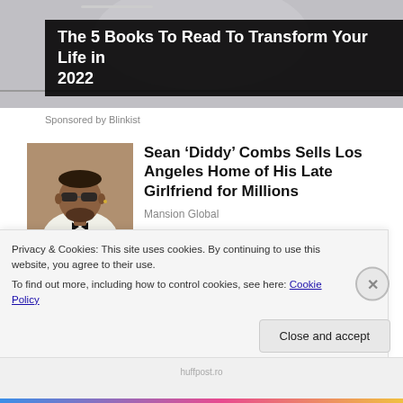[Figure (photo): Hero/banner image at top, partially visible, showing a light gray photographic background with an ad overlay block for Blinkist book promotion.]
The 5 Books To Read To Transform Your Life in 2022
Sponsored by Blinkist
[Figure (photo): Thumbnail photo of Sean 'Diddy' Combs wearing sunglasses and a white suit.]
Sean ‘Diddy’ Combs Sells Los Angeles Home of His Late Girlfriend for Millions
Mansion Global
[Figure (photo): Thumbnail photo showing Lupita Nyong'o, Letitia Wright and others at an event on a blue background.]
Lupita Nyong’o, Letitia Wright and others pay tribute to
Privacy & Cookies: This site uses cookies. By continuing to use this website, you agree to their use.
To find out more, including how to control cookies, see here: Cookie Policy
Close and accept